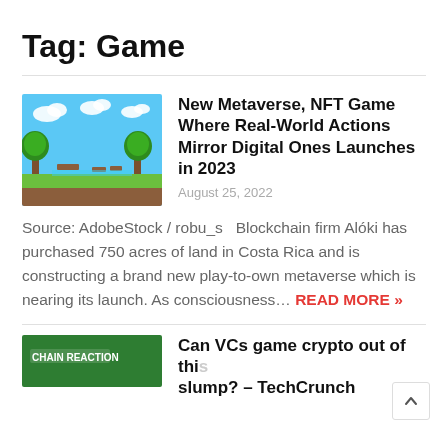Tag: Game
[Figure (illustration): Pixel art style 2D platformer game scene with trees, clouds, and ground]
New Metaverse, NFT Game Where Real-World Actions Mirror Digital Ones Launches in 2023
August 25, 2022
Source: AdobeStock / robu_s   Blockchain firm Alóki has purchased 750 acres of land in Costa Rica and is constructing a brand new play-to-own metaverse which is nearing its launch. As consciousness… READ MORE »
[Figure (photo): Chain Reaction article thumbnail with green background and white text]
Can VCs game crypto out of this slump? – TechCrunch